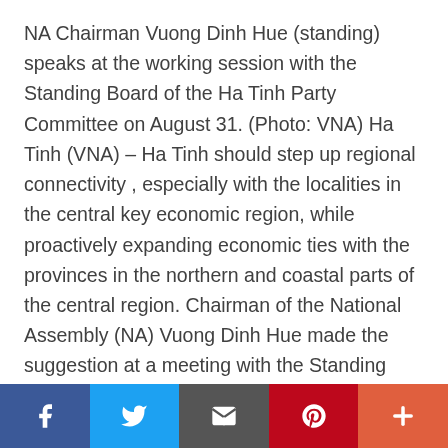NA Chairman Vuong Dinh Hue (standing) speaks at the working session with the Standing Board of the Ha Tinh Party Committee on August 31. (Photo: VNA) Ha Tinh (VNA) – Ha Tinh should step up regional connectivity , especially with the localities in the central key economic region, while proactively expanding economic ties with the provinces in the northern and coastal parts of the central region. Chairman of the National Assembly (NA) Vuong Dinh Hue made the suggestion at a meeting with the Standing Board of the Party Committee of the central province on August 31. At the event, Secretary of the provincial Party